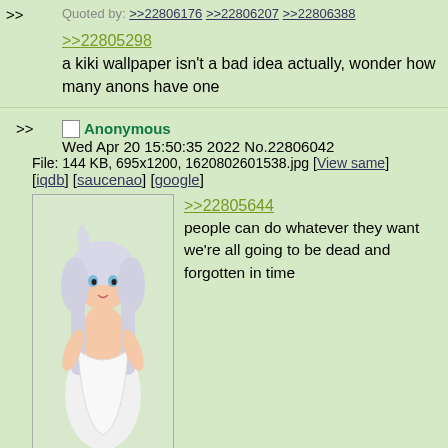Quoted by: >>22806176 >>22806207 >>22806388
>>22805298
a kiki wallpaper isn't a bad idea actually, wonder how many anons have one
Anonymous Wed Apr 20 15:50:35 2022 No.22806042
File: 144 KB, 695x1200, 1620802601538.jpg [View same] [iqdb] [saucenao] [google]
[Figure (illustration): Anime girl with white/grey hair in a white dress]
>>22805644
people can do whatever they want we're all going to be dead and forgotten in time
Anonymous Wed Apr 20 15:53:42 2022 No.22806152
Quoted by: >>22806225
>>22805644
There's no reason to talk about that in Kiki's thread
Anonymous Wed Apr 20 15:54:10 2022 No.22806176